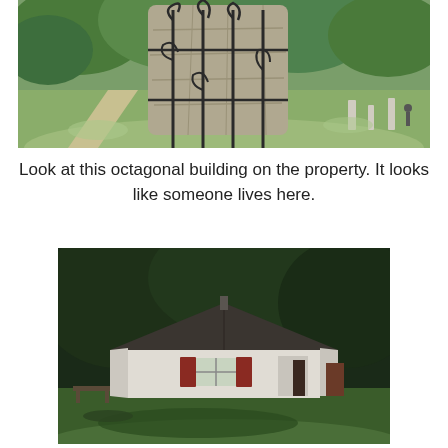[Figure (photo): Close-up photograph of a large stone monument or grave marker with decorative iron scrollwork/fence in front, surrounded by trees in a cemetery or park setting]
Look at this octagonal building on the property. It looks like someone lives here.
[Figure (photo): Photograph of a small white octagonal building with a dark shingled pyramidal roof, red shutters, a window, and a small entrance, set on a grassy area with trees in the background]